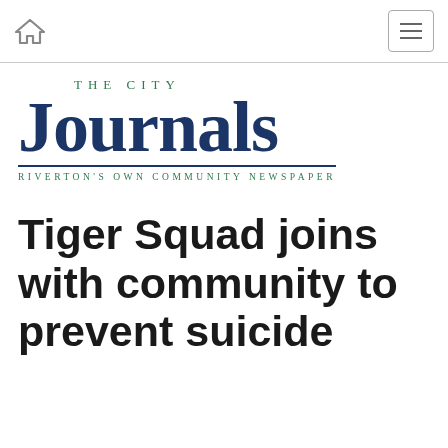Home | Menu
[Figure (logo): The City Journals logo — 'THE CITY' in small green spaced caps above large bold dark-blue 'Journals', with a horizontal rule and tagline 'RIVERTON'S OWN COMMUNITY NEWSPAPER' in green spaced caps below]
Tiger Squad joins with community to prevent suicide